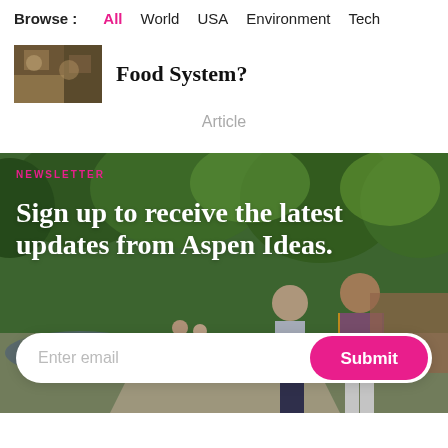Browse : All  World  USA  Environment  Tech
Food System?
Article
[Figure (photo): Newsletter signup banner with outdoor park scene showing two people walking on a path surrounded by green trees, with text 'NEWSLETTER' and 'Sign up to receive the latest updates from Aspen Ideas.' and an email input field with Submit button.]